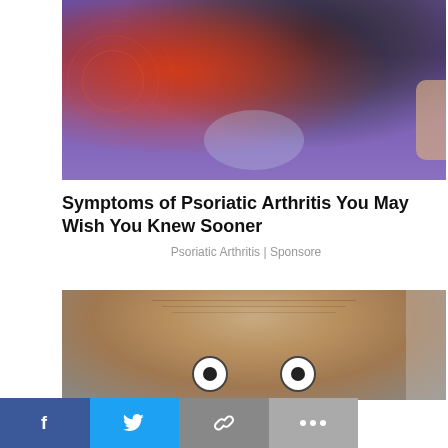[Figure (photo): Medical illustration of psoriatic arthritis in hip/pelvis area, overlaid on a person wearing blue leggings. Red radiating pain indicator on left hip, dark anatomical overlay on right. Concentric red rings on left side.]
Symptoms of Psoriatic Arthritis You May Wish You Knew Sooner
Psoriatic Arthritis | Sponsore
[Figure (photo): Close-up photo of a man's face looking up at the camera with wide, surprised eyes and raised eyebrows.]
[Figure (other): Social sharing bar with four buttons: Facebook (blue), Twitter (light blue), Link/copy (gray), More options (dark gray)]